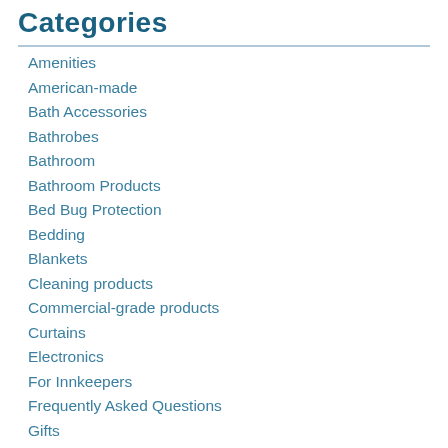Categories
Amenities
American-made
Bath Accessories
Bathrobes
Bathroom
Bathroom Products
Bed Bug Protection
Bedding
Blankets
Cleaning products
Commercial-grade products
Curtains
Electronics
For Innkeepers
Frequently Asked Questions
Gifts
Green products